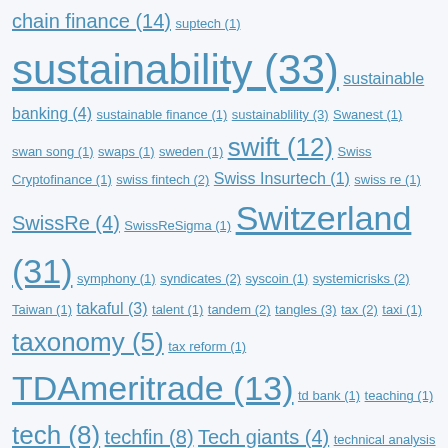Tag cloud fragment showing fintech topics from 'supply chain finance (14)' through 'Total Value' with varying font sizes indicating post frequency